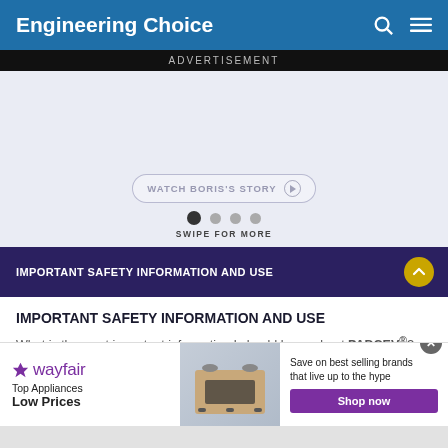Engineering Choice
ADVERTISEMENT
[Figure (screenshot): Advertisement placeholder area with a 'WATCH BORIS'S STORY' button and swipe dots navigation. Background is light blue-gray.]
IMPORTANT SAFETY INFORMATION AND USE
IMPORTANT SAFETY INFORMATION AND USE
What is the most important information I should know about PADCEV®?
[Figure (advertisement): Wayfair advertisement banner showing logo, 'Top Appliances Low Prices' text, a stove image, and 'Save on best selling brands that live up to the hype. Shop now' with a purple Shop now button.]